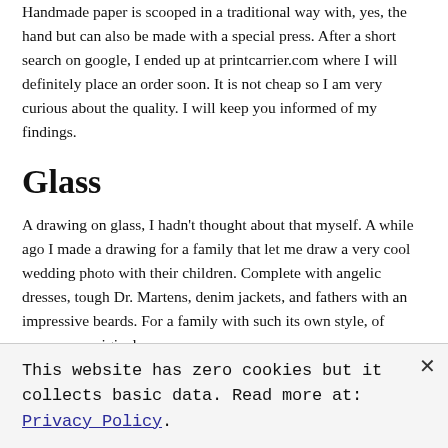Handmade paper is scooped in a traditional way with, yes, the hand but can also be made with a special press. After a short search on google, I ended up at printcarrier.com where I will definitely place an order soon. It is not cheap so I am very curious about the quality. I will keep you informed of my findings.
Glass
A drawing on glass, I hadn't thought about that myself. A while ago I made a drawing for a family that let me draw a very cool wedding photo with their children. Complete with angelic dresses, tough Dr. Martens, denim jackets, and fathers with an impressive beards. For a family with such its own style, of course, an original
This website has zero cookies but it collects basic data. Read more at: Privacy Policy.